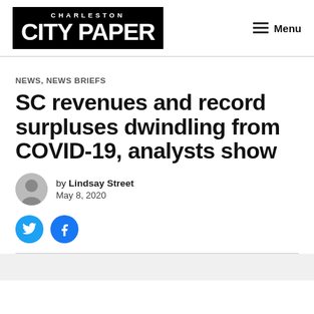[Figure (logo): Charleston City Paper logo — black rectangle with 'CHARLESTON' in small caps and 'CITY PAPER' in large bold white text]
Menu
NEWS, NEWS BRIEFS
SC revenues and record surpluses dwindling from COVID-19, analysts show
by Lindsay Street
May 8, 2020